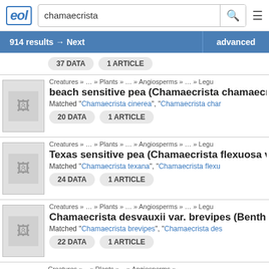EOL - chamaecrista search - 914 results
914 results → Next | advanced
37 DATA  1 ARTICLE
Creatures » … » Plants » … » Angiosperms » … » Legu
beach sensitive pea (Chamaecrista chamaecrista)
Matched "Chamaecrista cinerea", "Chamaecrista char
20 DATA  1 ARTICLE
Creatures » … » Plants » … » Angiosperms » … » Legu
Texas sensitive pea (Chamaecrista flexuosa va
Matched "Chamaecrista texana", "Chamaecrista flexu
24 DATA  1 ARTICLE
Creatures » … » Plants » … » Angiosperms » … » Legu
Chamaecrista desvauxii var. brevipes (Benth.) H
Matched "Chamaecrista brevipes", "Chamaecrista des
22 DATA  1 ARTICLE
Creatures » … » Plants » … » Angiosperms » …